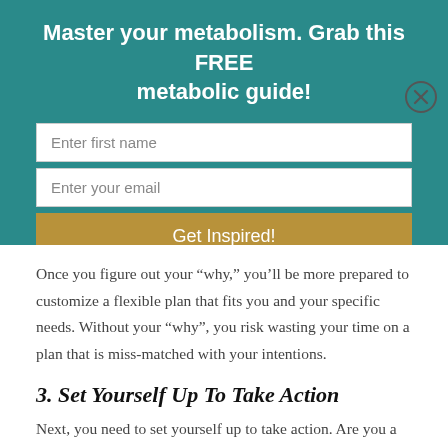Master your metabolism. Grab this FREE metabolic guide!
[Figure (other): Email signup form with fields for first name and email, and a 'Get Inspired!' button on a teal background. A close (X) button appears at the top right.]
Once you figure out your “why,” you’ll be more prepared to customize a flexible plan that fits you and your specific needs. Without your “why”, you risk wasting your time on a plan that is miss-matched with your intentions.
3. Set Yourself Up To Take Action
Next, you need to set yourself up to take action. Are you a doer or a sayer? I have phone